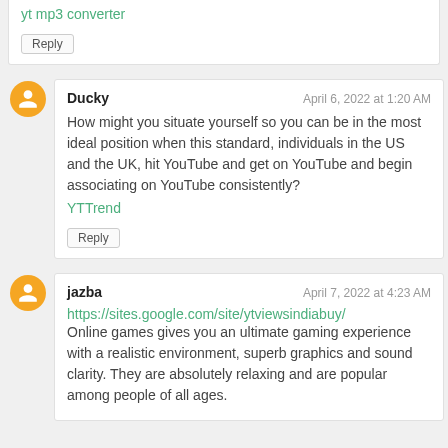yt mp3 converter
Reply
Ducky — April 6, 2022 at 1:20 AM
How might you situate yourself so you can be in the most ideal position when this standard, individuals in the US and the UK, hit YouTube and get on YouTube and begin associating on YouTube consistently?
YTTrend
Reply
jazba — April 7, 2022 at 4:23 AM
https://sites.google.com/site/ytviewsindiabuy/
Online games gives you an ultimate gaming experience with a realistic environment, superb graphics and sound clarity. They are absolutely relaxing and are popular among people of all ages.